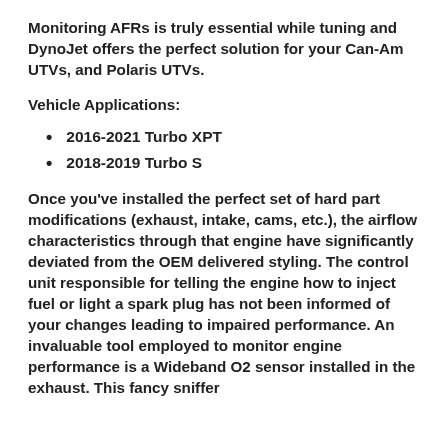Monitoring AFRs is truly essential while tuning and DynoJet offers the perfect solution for your Can-Am UTVs, and Polaris UTVs.
Vehicle Applications:
2016-2021 Turbo XPT
2018-2019 Turbo S
Once you've installed the perfect set of hard part modifications (exhaust, intake, cams, etc.), the airflow characteristics through that engine have significantly deviated from the OEM delivered styling. The control unit responsible for telling the engine how to inject fuel or light a spark plug has not been informed of your changes leading to impaired performance. An invaluable tool employed to monitor engine performance is a Wideband O2 sensor installed in the exhaust. This fancy sniffer